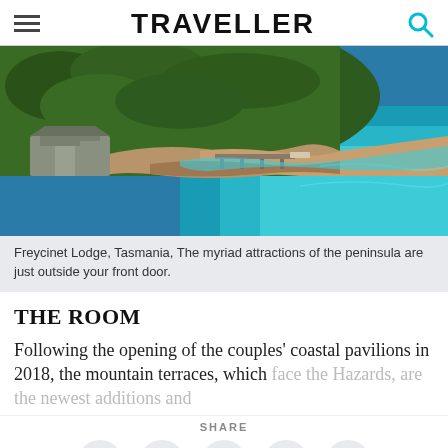TRAVELLER
[Figure (photo): Aerial view of Freycinet Lodge, Tasmania, showing buildings nestled in forested hillside next to turquoise coastal waters with a pier extending into the bay.]
Freycinet Lodge, Tasmania, The myriad attractions of the peninsula are just outside your front door.
THE ROOM
Following the opening of the couples' coastal pavilions in 2018, the mountain terraces, which face the Hazards, are the newest additions and
SHARE
[Figure (infographic): Social sharing buttons: Facebook, Twitter, Email, Pinterest, Google+]